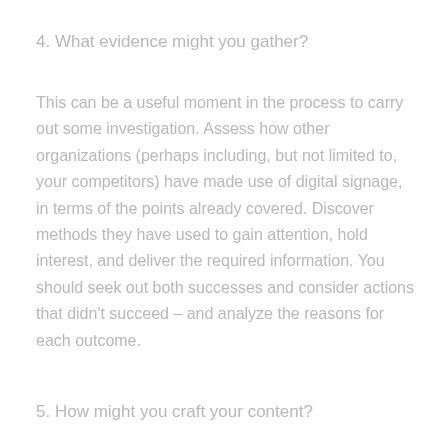4. What evidence might you gather?
This can be a useful moment in the process to carry out some investigation. Assess how other organizations (perhaps including, but not limited to, your competitors) have made use of digital signage, in terms of the points already covered. Discover methods they have used to gain attention, hold interest, and deliver the required information. You should seek out both successes and consider actions that didn't succeed – and analyze the reasons for each outcome.
5. How might you craft your content?